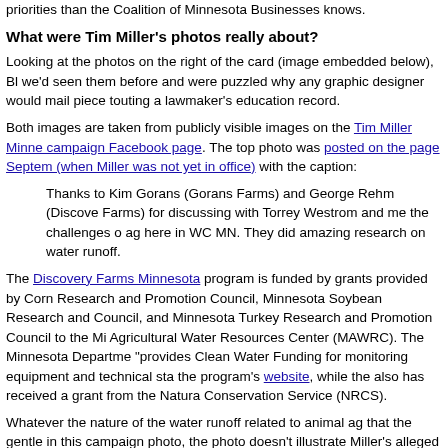priorities than the Coalition of Minnesota Businesses knows.
What were Tim Miller's photos really about?
Looking at the photos on the right of the card (image embedded below), Bl we'd seen them before and were puzzled why any graphic designer would mail piece touting a lawmaker's education record.
Both images are taken from publicly visible images on the Tim Miller Minne campaign Facebook page. The top photo was posted on the page Septem (when Miller was not yet in office) with the caption:
Thanks to Kim Gorans (Gorans Farms) and George Rehm (Discove Farms) for discussing with Torrey Westrom and me the challenges o ag here in WC MN. They did amazing research on water runoff.
The Discovery Farms Minnesota program is funded by grants provided by Corn Research and Promotion Council, Minnesota Soybean Research and Council, and Minnesota Turkey Research and Promotion Council to the Mi Agricultural Water Resources Center (MAWRC). The Minnesota Departme "provides Clean Water Funding for monitoring equipment and technical sta the program's website, while the also has received a grant from the Natura Conservation Service (NRCS).
Whatever the nature of the water runoff related to animal ag that the gentle in this campaign photo, the photo doesn't illustrate Miller's alleged devotio and post-secondary education or providing more money for public educatio
Here's the screengrab:
[Figure (screenshot): Screengrab of Tim Miller Minnesota campaign Facebook page, showing a dark left panel and a right panel with profile information.]